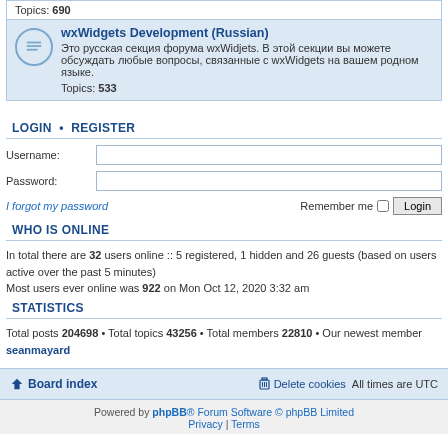Topics: 690
wxWidgets Development (Russian)
Это русская секция форума wxWidjets. В этой секции вы можете обсуждать любые вопросы, связанные с wxWidgets на вашем родном языке.
Topics: 533
LOGIN • REGISTER
Username:
Password:
I forgot my password
Remember me
WHO IS ONLINE
In total there are 32 users online :: 5 registered, 1 hidden and 26 guests (based on users active over the past 5 minutes)
Most users ever online was 922 on Mon Oct 12, 2020 3:32 am
STATISTICS
Total posts 204698 • Total topics 43256 • Total members 22810 • Our newest member seanmayard
Board index
Delete cookies  All times are UTC
Powered by phpBB® Forum Software © phpBB Limited
Privacy | Terms